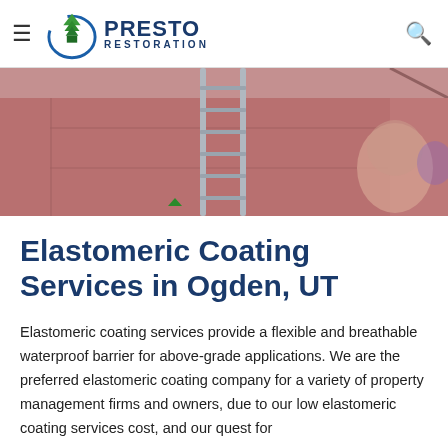Presto Restoration
[Figure (photo): Construction photo showing a ladder leaning against terracotta/brownish-red walls being worked on, with a person partially visible on the right side.]
Elastomeric Coating Services in Ogden, UT
Elastomeric coating services provide a flexible and breathable waterproof barrier for above-grade applications. We are the preferred elastomeric coating company for a variety of property management firms and owners, due to our low elastomeric coating services cost, and our quest for excellence in craftsmanship.